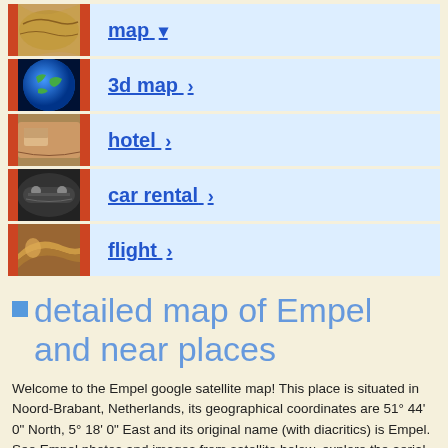map ▾
3d map ›
hotel ›
car rental ›
flight ›
detailed map of Empel and near places
Welcome to the Empel google satellite map! This place is situated in Noord-Brabant, Netherlands, its geographical coordinates are 51° 44' 0" North, 5° 18' 0" East and its original name (with diacritics) is Empel. See Empel photos and images from satellite below, explore the aerial photographs of Empel in Netherlands. Empel hotels map is available on the target page linked above.